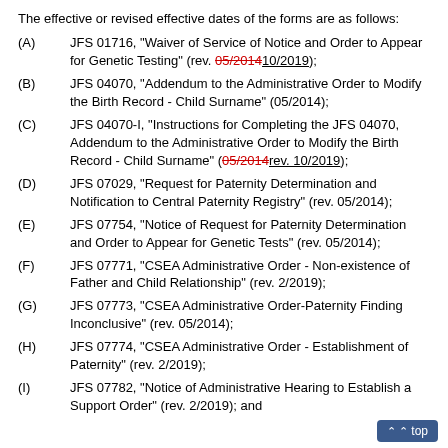The effective or revised effective dates of the forms are as follows:
(A) JFS 01716, "Waiver of Service of Notice and Order to Appear for Genetic Testing" (rev. 05/2014 10/2019);
(B) JFS 04070, "Addendum to the Administrative Order to Modify the Birth Record - Child Surname" (05/2014);
(C) JFS 04070-I, "Instructions for Completing the JFS 04070, Addendum to the Administrative Order to Modify the Birth Record - Child Surname" (05/2014 rev. 10/2019);
(D) JFS 07029, "Request for Paternity Determination and Notification to Central Paternity Registry" (rev. 05/2014);
(E) JFS 07754, "Notice of Request for Paternity Determination and Order to Appear for Genetic Tests" (rev. 05/2014);
(F) JFS 07771, "CSEA Administrative Order - Non-existence of Father and Child Relationship" (rev. 2/2019);
(G) JFS 07773, "CSEA Administrative Order-Paternity Finding Inconclusive" (rev. 05/2014);
(H) JFS 07774, "CSEA Administrative Order - Establishment of Paternity" (rev. 2/2019);
(I) JFS 07782, "Notice of Administrative Hearing to Establish a Support Order" (rev. 2/2019); and